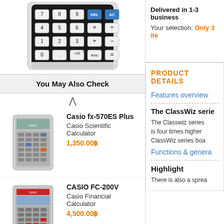[Figure (photo): Casio calculator keypad showing number keys, DEL, AC, x, ÷, +, -, ×10^x, Ans, = buttons on a dark background]
You May Also Check
[Figure (photo): Casio fx-570ES Plus scientific calculator thumbnail image]
Casio fx-570ES Plus
Casio Scientific Calculator
1,350.00฿
[Figure (photo): CASIO FC-200V financial calculator thumbnail image]
CASIO FC-200V
Casio Financial Calculator
4,500.00฿
Delivered in 1-3 business
Your selection: Only 3 ite
PRODUCT DETAILS
Features overview
The ClassWiz serie
The Classwiz series is four times higher ClassWiz series boa
Functions & genera
Highlight
There is also a sprea